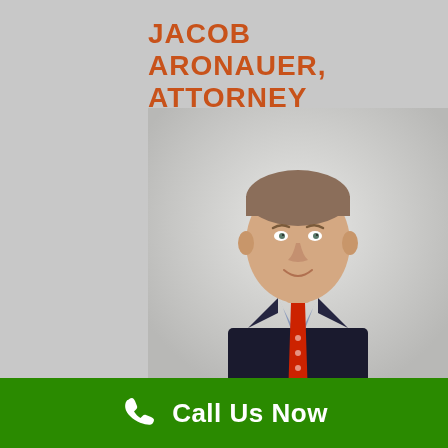JACOB ARONAUER, ATTORNEY
[Figure (photo): Professional headshot of Jacob Aronauer, a man in a dark suit, blue checkered shirt, and red tie, smiling at the camera against a light grey background.]
Call Us Now